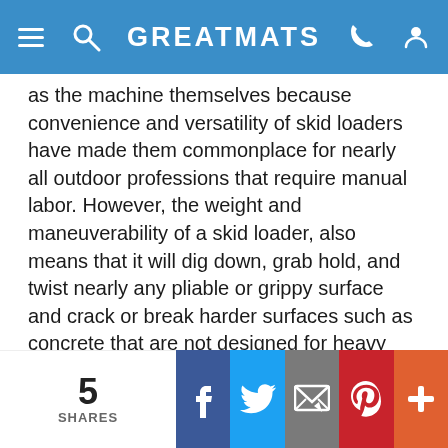GREATMATS
as the machine themselves because convenience and versatility of skid loaders have made them commonplace for nearly all outdoor professions that require manual labor. However, the weight and maneuverability of a skid loader, also means that it will dig down, grab hold, and twist nearly any pliable or grippy surface and crack or break harder surfaces such as concrete that are not designed for heavy loads.
In addition to skid loaders, ground protection mats are used under everything including:
farm tractors
5 SHARES | Facebook | Twitter | Email | Pinterest | More